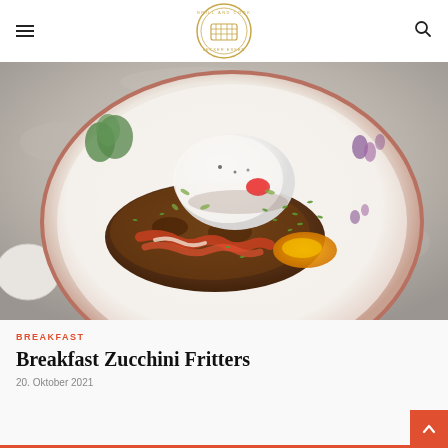Grill and Cook - Lecker Essen (logo header with hamburger menu and search icon)
[Figure (photo): Close-up food photo of breakfast zucchini fritters on a white plate with a terracotta rim, topped with a poached egg, crispy bacon, chopped chives, micro greens, and orange egg yolk sauce, on a grey stone background.]
BREAKFAST
Breakfast Zucchini Fritters
20. Oktober 2021